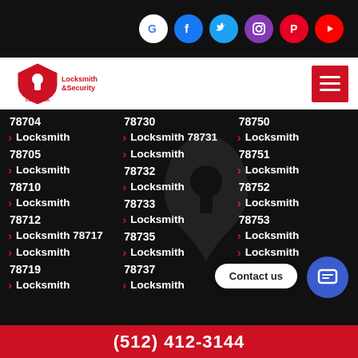Social media icons: Google, Facebook, Twitter, Instagram, Pinterest, YouTube
[Figure (logo): Locksmith & Security logo with shield and key icon]
78704 > Locksmith
78705 > Locksmith
78710 > Locksmith
78712 > Locksmith 78717
> Locksmith
78719 > Locksmith
78730 > Locksmith 78731
> Locksmith
78732 > Locksmith
78733 > Locksmith
78735 > Locksmith
78737 > Locksmith
78750 > Locksmith
78751 > Locksmith
78752 > Locksmith
78753 > Locksmith
> Locksmith
78755
Contact us
(512) 412-3144